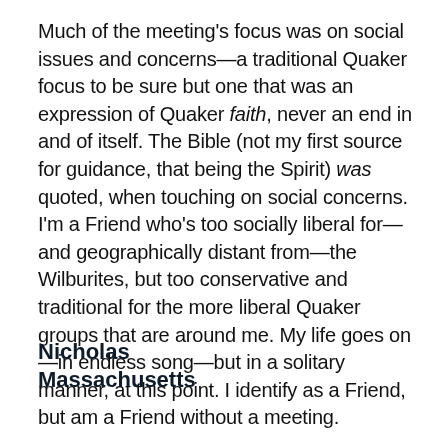Much of the meeting's focus was on social issues and concerns—a traditional Quaker focus to be sure but one that was an expression of Quaker faith, never an end in and of itself. The Bible (not my first source for guidance, that being the Spirit) was quoted, when touching on social concerns. I'm a Friend who's too socially liberal for—and geographically distant from—the Wilburites, but too conservative and traditional for the more liberal Quaker groups that are around me. My life goes on—in endless song—but in a solitary manner, at this point. I identify as a Friend, but am a Friend without a meeting.
Nicholas
Massachusetts